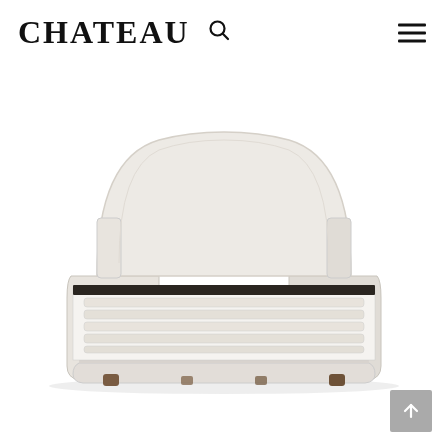CHATEAU
[Figure (photo): A modern upholstered bed frame in cream/off-white fabric with a large rounded headboard, visible wooden slats, and small dark wood feet, photographed from a front three-quarter angle against a white background.]
[Figure (other): Back to top arrow button in grey square at bottom right corner]